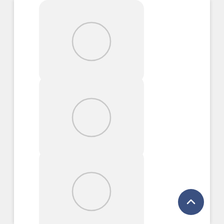[Figure (screenshot): App icon placeholder for PayByPhone Parking - rounded rectangle with grey circle inside]
PayByPhone Parking
[Figure (screenshot): App icon placeholder for Airbnb - rounded rectangle with grey circle inside]
Airbnb
[Figure (screenshot): App icon placeholder for Vrbo Holiday Rentals - rounded rectangle with grey circle inside]
Vrbo Holiday Rentals